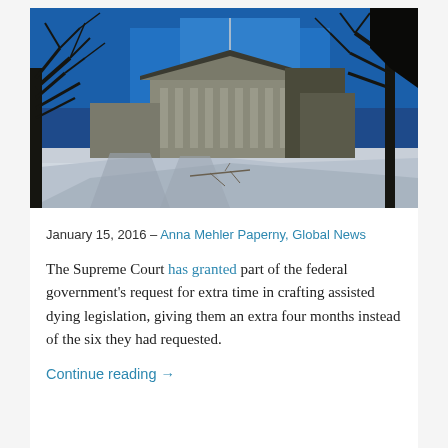[Figure (photo): Exterior of the Supreme Court of Canada building in winter, with bare trees and snow-covered ground, photographed against a deep blue sky with dramatic shadows.]
January 15, 2016 – Anna Mehler Paperny, Global News
The Supreme Court has granted part of the federal government's request for extra time in crafting assisted dying legislation, giving them an extra four months instead of the six they had requested.
Continue reading →